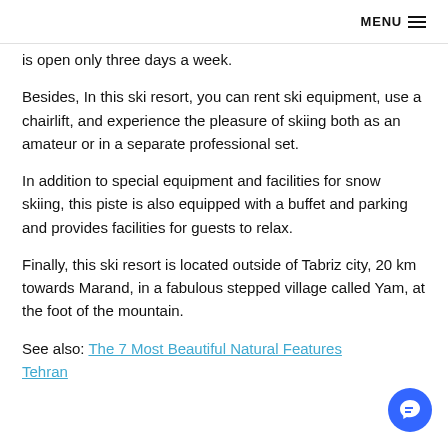MENU
is open only three days a week.
Besides, In this ski resort, you can rent ski equipment, use a chairlift, and experience the pleasure of skiing both as an amateur or in a separate professional set.
In addition to special equipment and facilities for snow skiing, this piste is also equipped with a buffet and parking and provides facilities for guests to relax.
Finally, this ski resort is located outside of Tabriz city, 20 km towards Marand, in a fabulous stepped village called Yam, at the foot of the mountain.
See also: The 7 Most Beautiful Natural Features Tehran